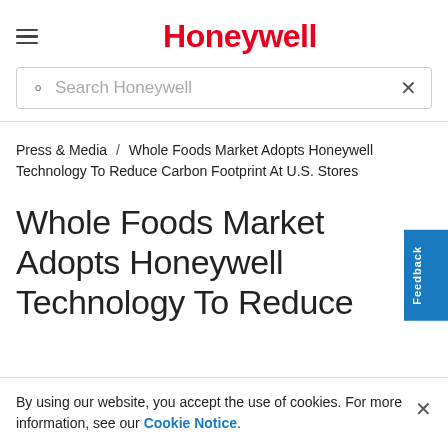Honeywell
Search Honeywell
Press & Media / Whole Foods Market Adopts Honeywell Technology To Reduce Carbon Footprint At U.S. Stores
Whole Foods Market Adopts Honeywell Technology To Reduce Carbon Footprint At U.S.
By using our website, you accept the use of cookies. For more information, see our Cookie Notice.